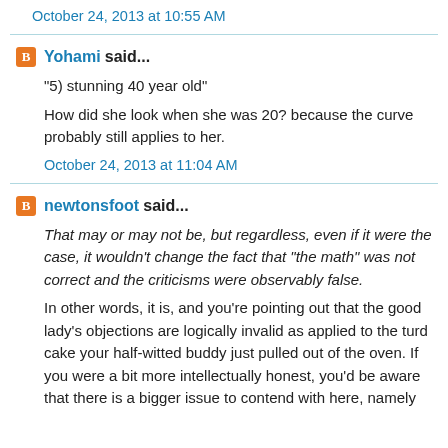October 24, 2013 at 10:55 AM
Yohami said...
"5) stunning 40 year old"
How did she look when she was 20? because the curve probably still applies to her.
October 24, 2013 at 11:04 AM
newtonsfoot said...
That may or may not be, but regardless, even if it were the case, it wouldn't change the fact that "the math" was not correct and the criticisms were observably false.
In other words, it is, and you're pointing out that the good lady's objections are logically invalid as applied to the turd cake your half-witted buddy just pulled out of the oven. If you were a bit more intellectually honest, you'd be aware that there is a bigger issue to contend with here, namely